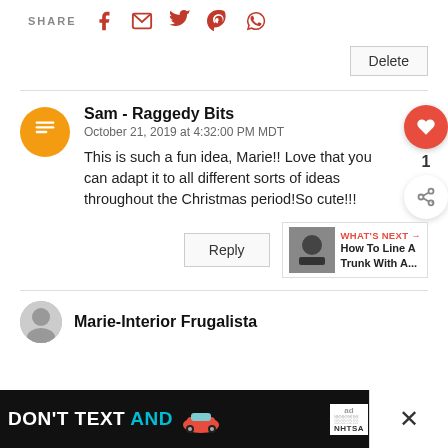SHARE [social icons: facebook, email, twitter, pinterest, whatsapp]
Delete
Sam - Raggedy Bits
October 21, 2019 at 4:32:00 PM MDT
This is such a fun idea, Marie!! Love that you can adapt it to all different sorts of ideas throughout the Christmas period!So cute!!!
Reply
WHAT'S NEXT → How To Line A Trunk With A...
Marie-Interior Frugalista
[Figure (screenshot): Ad banner: DON'T TEXT AND [car emoji] with NHTSA logo and close button]